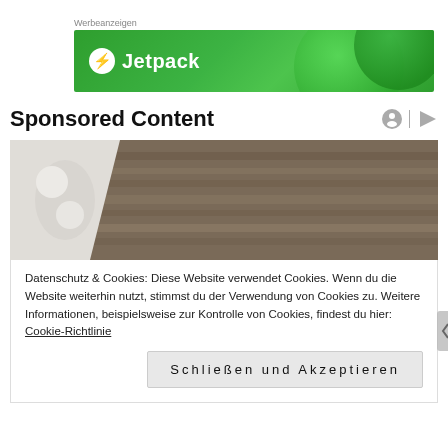Werbeanzeigen
[Figure (screenshot): Jetpack advertisement banner with green background and Jetpack logo]
Sponsored Content
[Figure (photo): Photo of white ceramic objects on a wooden surface]
Datenschutz & Cookies: Diese Website verwendet Cookies. Wenn du die Website weiterhin nutzt, stimmst du der Verwendung von Cookies zu. Weitere Informationen, beispielsweise zur Kontrolle von Cookies, findest du hier: Cookie-Richtlinie
Schließen und Akzeptieren